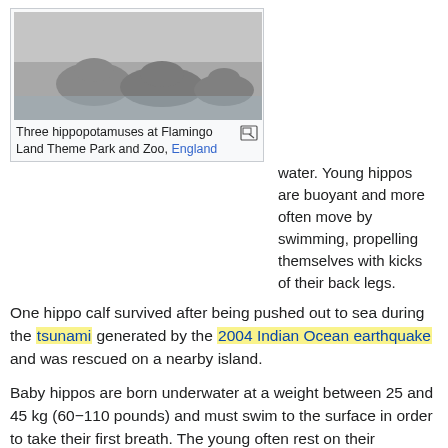[Figure (photo): Three hippopotamuses at Flamingo Land Theme Park and Zoo, England]
Three hippopotamuses at Flamingo Land Theme Park and Zoo, England
water. Young hippos are buoyant and more often move by swimming, propelling themselves with kicks of their back legs. One hippo calf survived after being pushed out to sea during the tsunami generated by the 2004 Indian Ocean earthquake and was rescued on a nearby island.
Baby hippos are born underwater at a weight between 25 and 45 kg (60−110 pounds) and must swim to the surface in order to take their first breath. The young often rest on their mothers' backs when in water that is too deep for them, and swim underwater in order to suckle.
Adult hippos typically resurface to breathe every 3–5 minutes. The young have to breathe every two to three minutes. The process of surfacing and breathing is automatic, and even a hippo sleeping underwater will rise and breathe without waking. Hippos have been documented staying submerged for up to thirty minutes. A hippo closes its nostrils when it submerges.
Adult hippos are extremely hostile toward crocodiles, which often live in the same pools and rivers as hippopotami. This is especially so when hippo calves are around. Hippos also seem to empathize with the prey of crocodiles and have been known to stand guard over dead and dying...